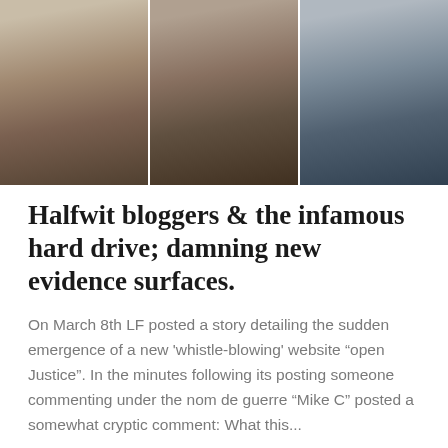[Figure (photo): Three men's faces in a horizontal photo strip collage]
Halfwit bloggers & the infamous hard drive; damning new evidence surfaces.
On March 8th LF posted a story detailing the sudden emergence of a new 'whistle-blowing' website “open Justice”. In the minutes following its posting someone commenting under the nom de guerre “Mike C” posted a somewhat cryptic comment: What this...
Read article ›
◳ March 8, 2016 6:36 pm • Lauda Finem
[Figure (photo): Partial photo visible at bottom of page]